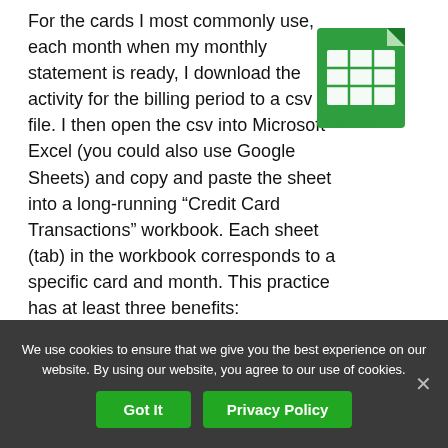For the cards I most commonly use, each month when my monthly statement is ready, I download the activity for the billing period to a csv file. I then open the csv into Microsoft Excel (you could also use Google Sheets) and copy and paste the sheet into a long-running “Credit Card Transactions” workbook. Each sheet (tab) in the workbook corresponds to a specific card and month. This practice has at least three benefits:
[Figure (illustration): A green spreadsheet/Google Sheets file icon with a white grid table symbol and the word SPREADSHEET below it]
We use cookies to ensure that we give you the best experience on our website. By using our website, you agree to our use of cookies.